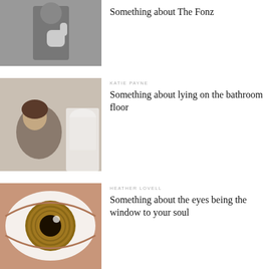[Figure (photo): Black and white photo of a man in a leather jacket giving a thumbs up]
Something about The Fonz
[Figure (photo): Photo of a young woman sitting on a bathroom floor hugging her knees]
KATIE PAYNE
Something about lying on the bathroom floor
[Figure (photo): Close-up macro photo of a human eye with brown iris]
HEATHER LOVELL
Something about the eyes being the window to your soul